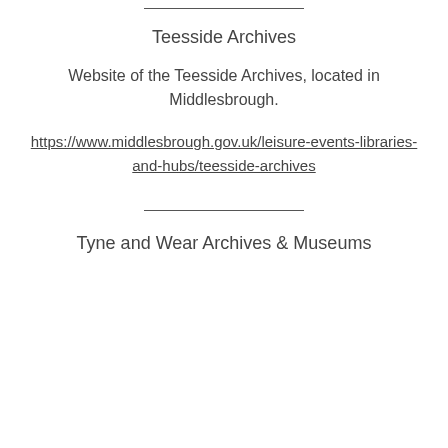Teesside Archives
Website of the Teesside Archives, located in Middlesbrough.
https://www.middlesbrough.gov.uk/leisure-events-libraries-and-hubs/teesside-archives
Tyne and Wear Archives & Museums